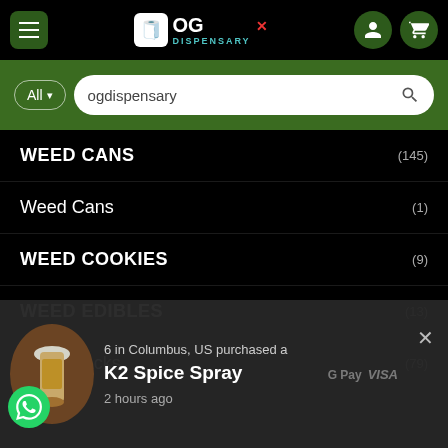[Figure (screenshot): OG Dispensary website header with hamburger menu, logo, user icon, and cart icon on black background]
[Figure (screenshot): Green search bar with All dropdown filter and ogdispensary search text]
WEED CANS (145)
Weed Cans (1)
WEED COOKIES (9)
WEED EDIBLES (13)
Weed Packs (79)
[Figure (screenshot): Popup notification: 6 in Columbus, US purchased a K2 Spice Spray 2 hours ago, with product image of a small bottle]